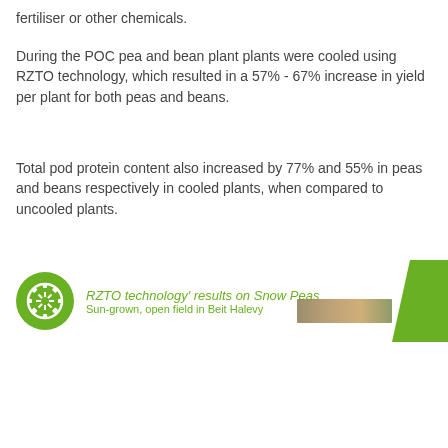fertiliser or other chemicals.
During the POC pea and bean plant plants were cooled using RZTO technology, which resulted in a 57% - 67% increase in yield per plant for both peas and beans.
Total pod protein content also increased by 77% and 55% in peas and beans respectively in cooled plants, when compared to uncooled plants.
[Figure (other): RZTO technology logo (green circle with gear/snowflake icon) and chart header: 'RZTO technology' results on Snow Peas — Sun-grown, open field in Beit Halevy', with a green angled corner graphic and a photo strip of plant material.]